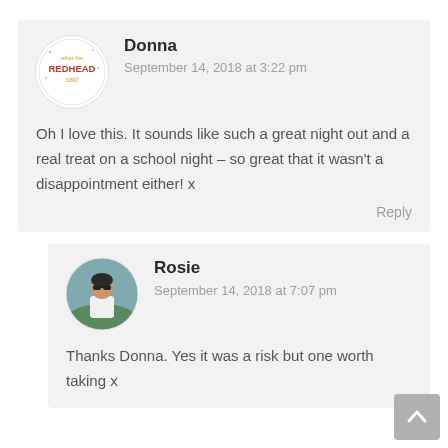[Figure (photo): Round logo avatar for 'What the Redhead Said' blog, white background with illustrated text in orange/red and gold]
Donna
September 14, 2018 at 3:22 pm
Oh I love this. It sounds like such a great night out and a real treat on a school night – so great that it wasn't a disappointment either! x
Reply
[Figure (photo): Round photo avatar of Rosie, a woman with dark sunglasses wearing a white top, outdoor background]
Rosie
September 14, 2018 at 7:07 pm
Thanks Donna. Yes it was a risk but one worth taking x